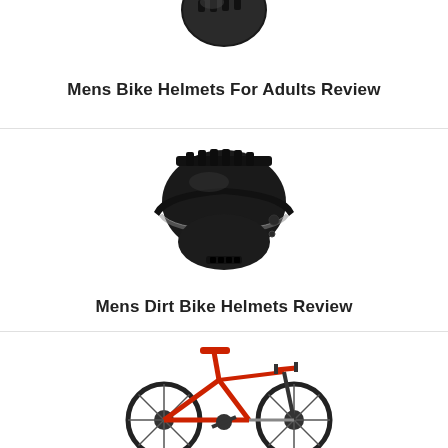[Figure (photo): A dark cycling helmet for adults, partially cropped at top of frame, viewed from slightly above]
Mens Bike Helmets For Adults Review
[Figure (photo): A full-face matte black dirt bike / motorcycle helmet with clear visor, centered on white background]
Mens Dirt Bike Helmets Review
[Figure (photo): A red and black mountain bike, partially visible at bottom of page, on white background]